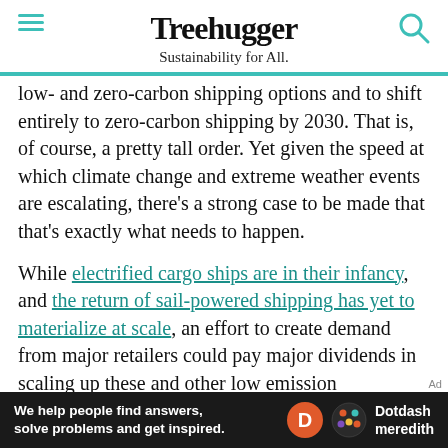Treehugger — Sustainability for All.
low- and zero-carbon shipping options and to shift entirely to zero-carbon shipping by 2030. That is, of course, a pretty tall order. Yet given the speed at which climate change and extreme weather events are escalating, there's a strong case to be made that that's exactly what needs to happen.
While electrified cargo ships are in their infancy, and the return of sail-powered shipping has yet to materialize at scale, an effort to create demand from major retailers could pay major dividends in scaling up these and other low emission alternatives. And if such efforts could be combined with initiatives to really embrace circular
[Figure (other): Dotdash Meredith advertisement banner at the bottom: 'We help people find answers, solve problems and get inspired.' with Dotdash Meredith logo.]